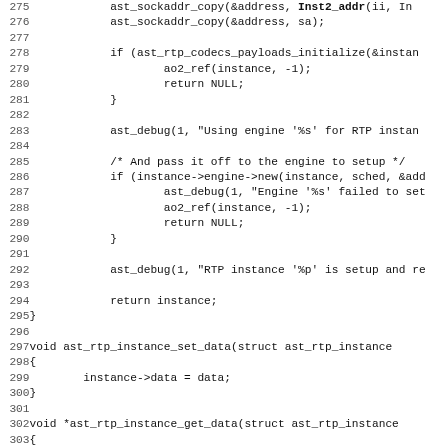[Figure (screenshot): Source code listing in monospace font showing C code lines 275-307, including functions ast_sockaddr_copy, ast_rtp_codecs_payloads_initialize, ast_debug, ast_rtp_instance_set_data, ast_rtp_instance_get_data, and ast_rtp_instance_write with line numbers on the left.]